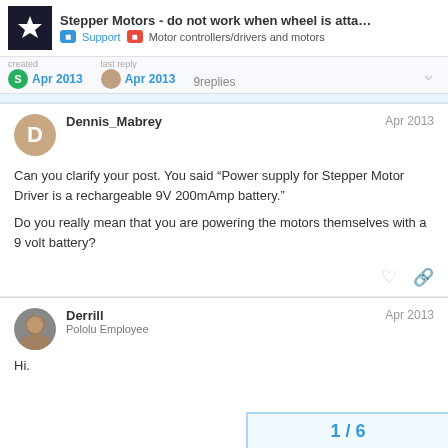Stepper Motors - do not work when wheel is atta... | Support | Motor controllers/drivers and motors
created Apr 2013  last reply Apr 2013  9 replies
Dennis_Mabrey  Apr 2013
Can you clarify your post. You said “Power supply for Stepper Motor Driver is a rechargeable 9V 200mAmp battery.”

Do you really mean that you are powering the motors themselves with a 9 volt battery?
Derrill
Pololu Employee  Apr 2013
Hi.
1 / 6